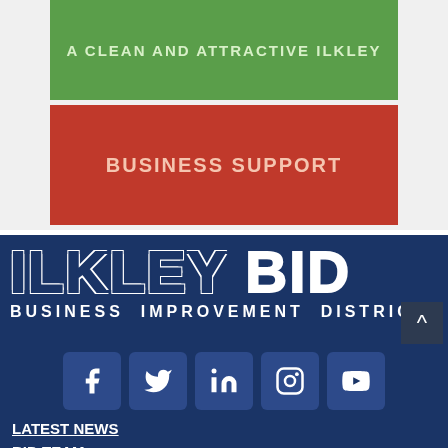A CLEAN AND ATTRACTIVE ILKLEY
BUSINESS SUPPORT
[Figure (logo): ILKLEY BID - Business Improvement District logo on dark blue background]
[Figure (infographic): Social media icons: Facebook, Twitter, LinkedIn, Instagram, YouTube]
LATEST NEWS
BID TEAM